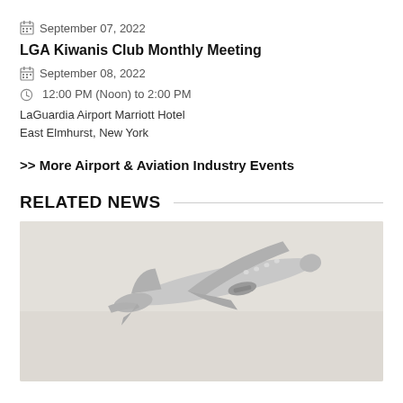September 07, 2022
LGA Kiwanis Club Monthly Meeting
September 08, 2022
12:00 PM (Noon) to 2:00 PM
LaGuardia Airport Marriott Hotel
East Elmhurst, New York
>> More Airport & Aviation Industry Events
RELATED NEWS
[Figure (photo): A commercial passenger airplane in flight against a light gray sky, viewed from below-side angle, banking slightly.]